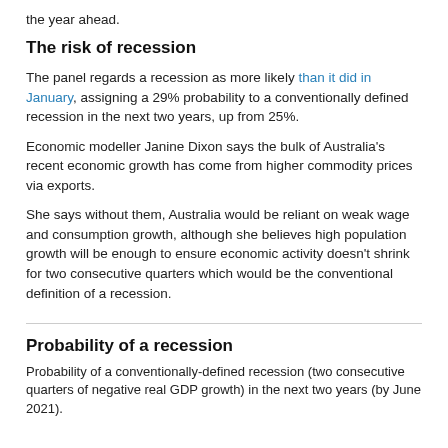the year ahead.
The risk of recession
The panel regards a recession as more likely than it did in January, assigning a 29% probability to a conventionally defined recession in the next two years, up from 25%.
Economic modeller Janine Dixon says the bulk of Australia's recent economic growth has come from higher commodity prices via exports.
She says without them, Australia would be reliant on weak wage and consumption growth, although she believes high population growth will be enough to ensure economic activity doesn't shrink for two consecutive quarters which would be the conventional definition of a recession.
Probability of a recession
Probability of a conventionally-defined recession (two consecutive quarters of negative real GDP growth) in the next two years (by June 2021).